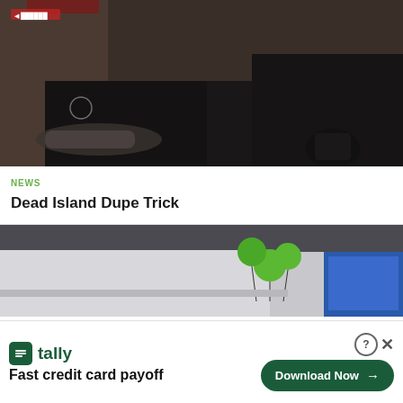[Figure (screenshot): Dark video game screenshot from Dead Island showing a dimly lit environment with a body on the ground and a character in the background]
NEWS
Dead Island Dupe Trick
[Figure (screenshot): Partial screenshot showing a room with green balloons and a person near a TV screen]
tally Fast credit card payoff Download Now →